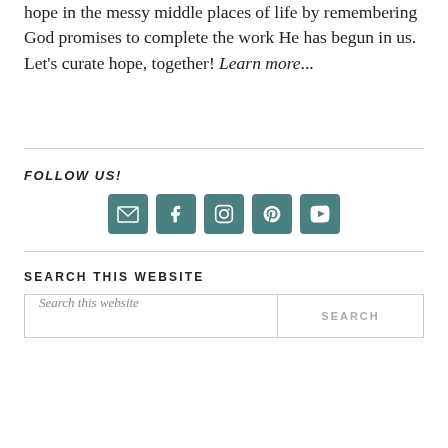hope in the messy middle places of life by remembering God promises to complete the work He has begun in us. Let's curate hope, together! Learn more...
FOLLOW US!
[Figure (infographic): Row of five social media icon buttons (email, Facebook, Instagram, Pinterest, YouTube) in teal/dark green rounded square buttons with white icons.]
SEARCH THIS WEBSITE
Search this website  SEARCH